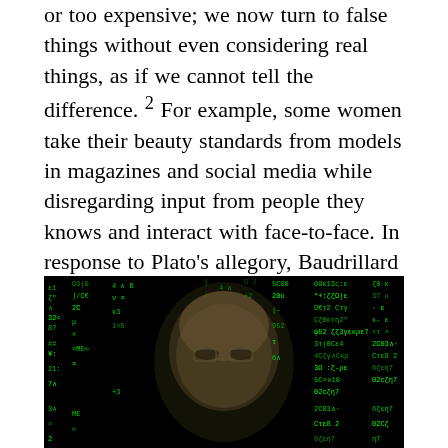or too expensive; we now turn to false things without even considering real things, as if we cannot tell the difference.² For example, some women take their beauty standards from models in magazines and social media while disregarding input from people they knows and interact with face-to-face. In response to Plato's allegory, Baudrillard would argue that we dig ourselves into a cave of shadows. Leaving the cave, then, is as simple as rejecting these falsehoods and accepting reality.
[Figure (photo): A man's face overlaid with cascading green matrix-style digital code characters on a black background, referencing Baudrillard's simulacra themes.]